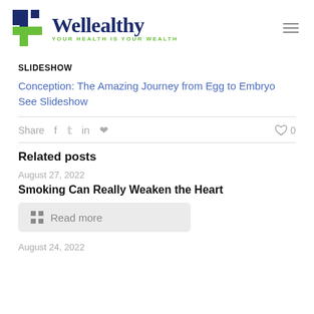[Figure (logo): Wellealthy logo with blue and green cross icon, text 'Wellealthy' in dark blue serif font, tagline 'YOUR HEALTH IS YOUR WEALTH' in green]
SLIDESHOW
Conception: The Amazing Journey from Egg to Embryo See Slideshow
Share  f  t  in  p  ♡ 0
Related posts
August 27, 2022
Smoking Can Really Weaken the Heart
Read more
August 24, 2022